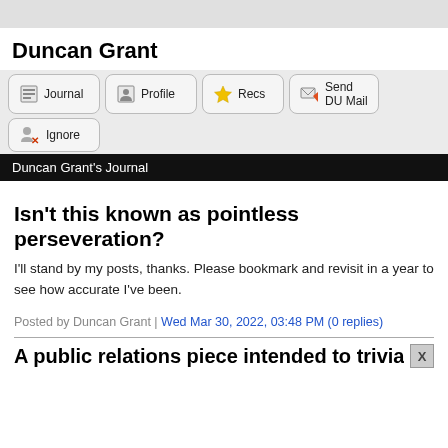Duncan Grant
[Figure (screenshot): Navigation buttons: Journal, Profile, Recs, Send DU Mail, Ignore]
Duncan Grant's Journal
Isn't this known as pointless perseveration?
I'll stand by my posts, thanks. Please bookmark and revisit in a year to see how accurate I've been.
Posted by Duncan Grant | Wed Mar 30, 2022, 03:48 PM (0 replies)
A public relations piece intended to trivialize